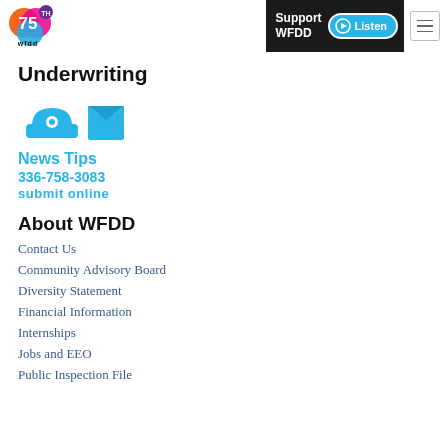WFDD 75th anniversary logo | Support WFDD | Listen | Menu
Underwriting
[Figure (infographic): Two icons: a telephone/contact icon and an email/envelope icon, both in blue]
News Tips
336-758-3083
submit online
About WFDD
Contact Us
Community Advisory Board
Diversity Statement
Financial Information
Internships
Jobs and EEO
Public Inspection File